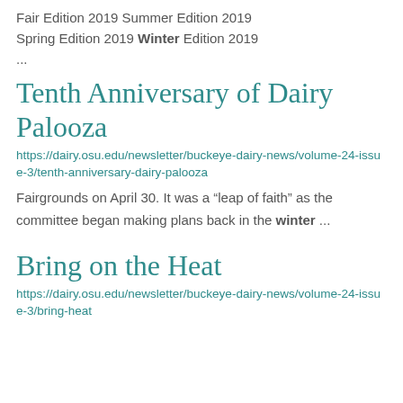Fair Edition 2019 Summer Edition 2019 Spring Edition 2019 Winter Edition 2019
...
Tenth Anniversary of Dairy Palooza
https://dairy.osu.edu/newsletter/buckeye-dairy-news/volume-24-issue-3/tenth-anniversary-dairy-palooza
Fairgrounds on April 30. It was a “leap of faith” as the committee began making plans back in the winter ...
Bring on the Heat
https://dairy.osu.edu/newsletter/buckeye-dairy-news/volume-24-issue-3/bring-heat